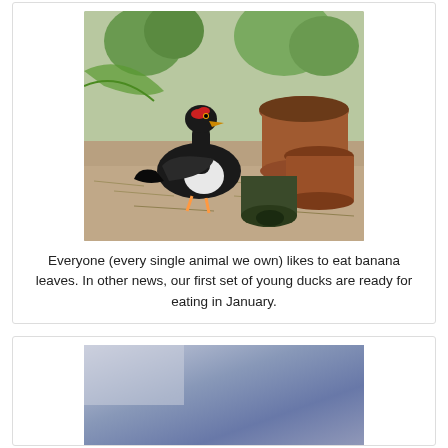[Figure (photo): A black and white duck (muscovy duck) standing on sandy ground near terracotta pots and green plants. The duck has a red caruncle on its face and is looking upward.]
Everyone (every single animal we own) likes to eat banana leaves. In other news, our first set of young ducks are ready for eating in January.
[Figure (photo): Partial view of a second photo showing a blue-grey sky or background, visible at the bottom of the page.]